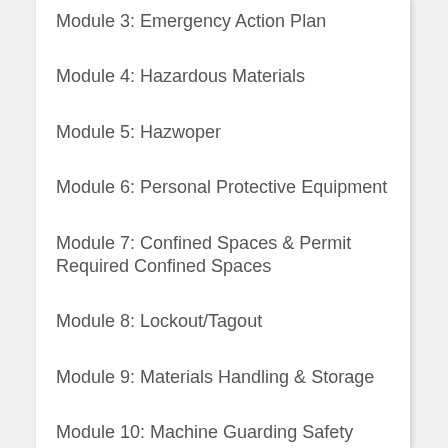Module 3: Emergency Action Plan
Module 4: Hazardous Materials
Module 5: Hazwoper
Module 6: Personal Protective Equipment
Module 7: Confined Spaces & Permit Required Confined Spaces
Module 8: Lockout/Tagout
Module 9: Materials Handling & Storage
Module 10: Machine Guarding Safety
Module 11: Welding, Cutting, and Brazing
Module 12: Electrical Safety
Module 13: Hazard Communication